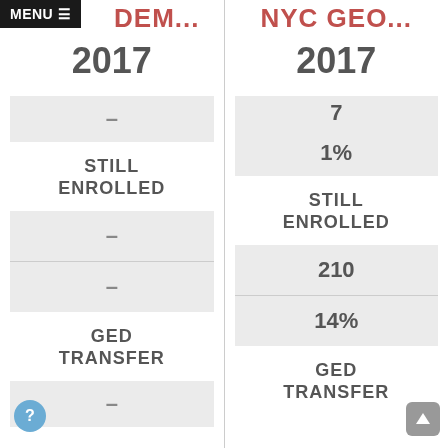MENU
ACAD DEM...
NYC GEO...
2017
2017
| – |
| 7 |
| 1% |
STILL ENROLLED
STILL ENROLLED
| – |
| – |
| 210 |
| 14% |
GED TRANSFER
GED TRANSFER
| – |
|  |